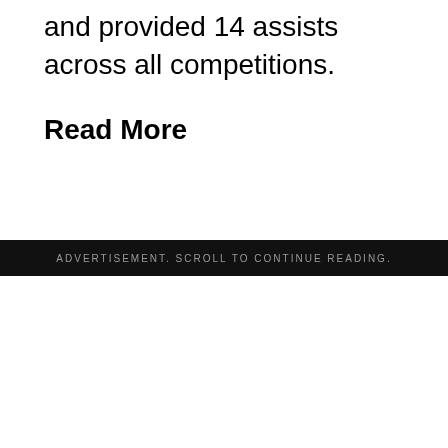During his opening season at PSG, Messi scored 11 goals and provided 14 assists across all competitions.
Read More
ADVERTISEMENT. SCROLL TO CONTINUE READING.